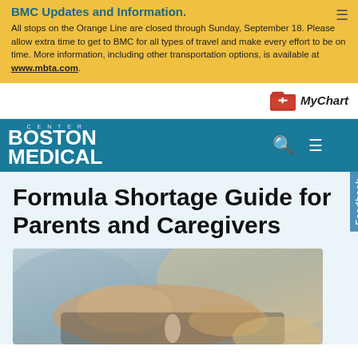BMC Updates and Information.
All stops on the Orange Line are closed through Sunday, September 18. Please allow extra time to get to BMC for all types of travel and make every effort to be on time. More information, including other transportation options, is available at www.mbta.com.
MyChart
[Figure (logo): Boston Medical Center logo in white on teal navigation bar with search and menu icons]
Formula Shortage Guide for Parents and Caregivers
[Figure (photo): Photo of a caregiver feeding a baby with a bottle, blurred background]